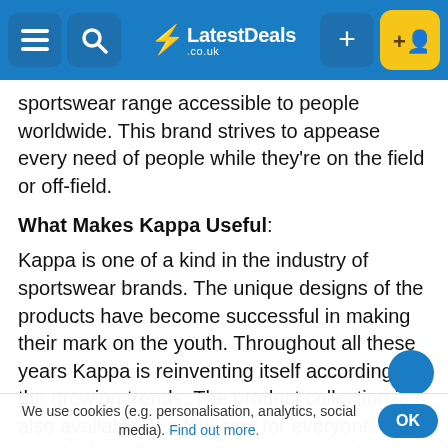LatestDeals.co.uk navigation bar
sportswear range accessible to people worldwide. This brand strives to appease every need of people while they're on the field or off-field.
What Makes Kappa Useful:
Kappa is one of a kind in the industry of sportswear brands. The unique designs of the products have become successful in making their mark on the youth. Throughout all these years Kappa is reinventing itself according to the growing trends. The product collection is also available at a low-cost for everyone. This popular brand has made sure to provide people with trendy sportswear continuously. The brand intends to give utmost comfort to its customers even during their mid-game or post-sessions. The
We use cookies (e.g. personalisation, analytics, social media). Find out more. OK